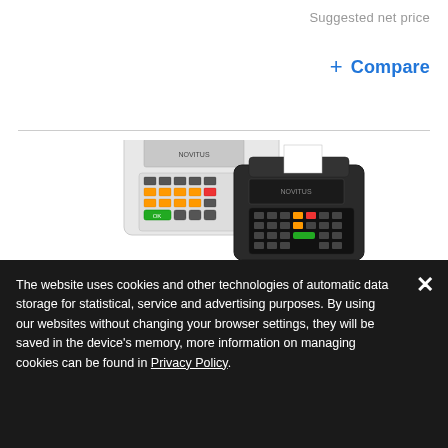Suggested net price
+ Compare
[Figure (photo): Two Novitus point-of-sale/cash register devices — one white/light-colored and one dark/black — shown together on a white background.]
The website uses cookies and other technologies of automatic data storage for statistical, service and advertising purposes. By using our websites without changing your browser settings, they will be saved in the device's memory, more information on managing cookies can be found in Privacy Policy.